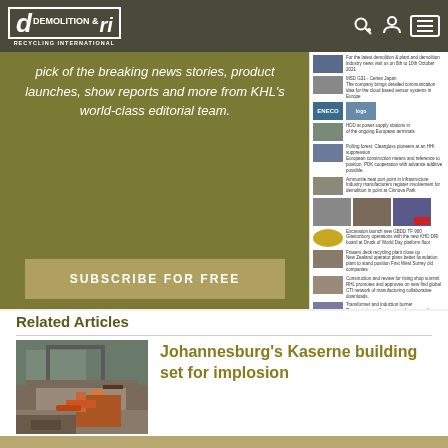d&ri DEMOLITION & RECYCLING INTERNATIONAL
pick of the breaking news stories, product launches, show reports and more from KHL's world-class editorial team.
SUBSCRIBE FOR FREE
[Figure (screenshot): Sidebar panel with thumbnails and news items from Demolition & Recycling International website]
Related Articles
[Figure (photo): Construction demolition scene with excavator inside a partially demolished building]
Johannesburg's Kaserne building set for implosion